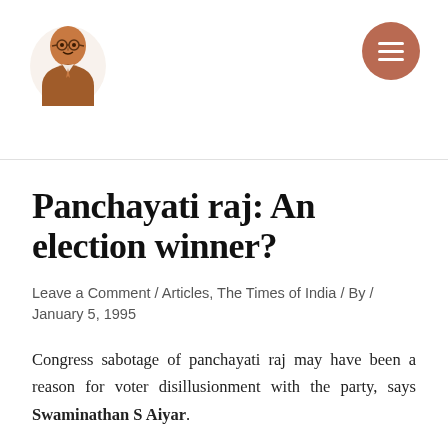[Figure (illustration): Illustrated portrait of a person (Swaminathan S Aiyar) in a brown sketch style, used as a logo/avatar in the page header]
☰
Panchayati raj: An election winner?
Leave a Comment / Articles, The Times of India / By / January 5, 1995
Congress sabotage of panchayati raj may have been a reason for voter disillusionment with the party, says Swaminathan S Aiyar.
Centralised rule in India has so obviously failed that most observers of the Indian